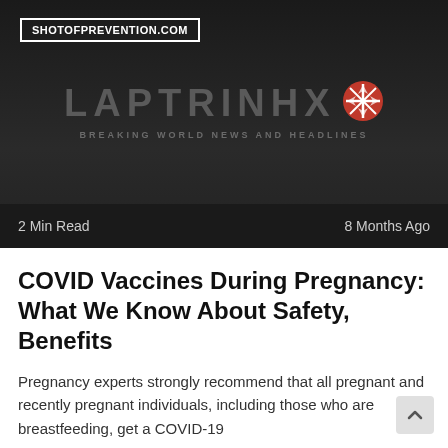[Figure (screenshot): Dark hero banner with LAPTRINHX logo and tagline 'BREAKING WORLD NEWS AND HEADLINES' on dark background]
SHOTOFPREVENTION.COM
2 Min Read
8 Months Ago
COVID Vaccines During Pregnancy: What We Know About Safety, Benefits
Pregnancy experts strongly recommend that all pregnant and recently pregnant individuals, including those who are breastfeeding, get a COVID-19